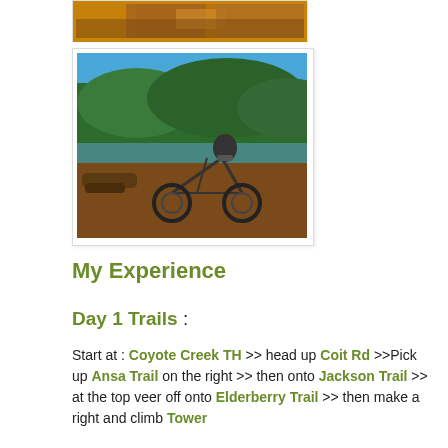[Figure (photo): Partial photo at top of page showing autumn foliage/brush in brown and gold colors]
[Figure (photo): Mountain bike parked near a lake or creek with green forested hillside in background, brown dirt foreground with logs]
My Experience
Day 1 Trails :
Start at : Coyote Creek TH >> head up Coit Rd >>Pick up Ansa Trail on the right >> then onto Jackson Trail >> at the top veer off onto Elderberry Trail >> then make a right and climb Tower